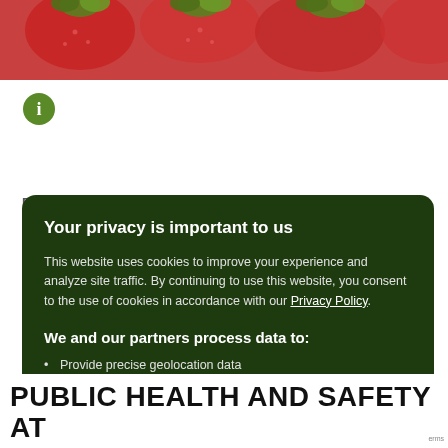[Figure (photo): Close-up photo of red strawberries with green leaves at the top of the page]
[Figure (infographic): Green circular info icon (i) on white background]
Your privacy is important to us
This website uses cookies to improve your experience and analyze site traffic. By continuing to use this website, you consent to the use of cookies in accordance with our Privacy Policy.
We and our partners process data to:
Provide precise geolocation data
Process device characteristics for identification
Store and/or access information on a device
Gather audience insights
I Understand    Privacy Policy
PUBLIC HEALTH AND SAFETY AT